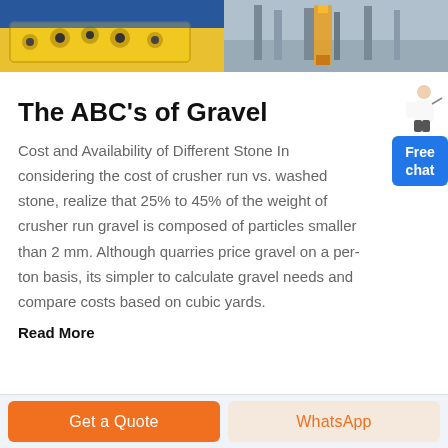[Figure (photo): Two photos side by side at top: left shows yellow industrial crusher machine, right shows worker in yellow safety gear at industrial site]
The ABC's of Gravel
Cost and Availability of Different Stone In considering the cost of crusher run vs. washed stone, realize that 25% to 45% of the weight of crusher run gravel is composed of particles smaller than 2 mm. Although quarries price gravel on a per-ton basis, its simpler to calculate gravel needs and compare costs based on cubic yards.
Read More
[Figure (illustration): Free chat widget with person graphic and blue button labeled 'Free chat']
Get a Quote   WhatsApp